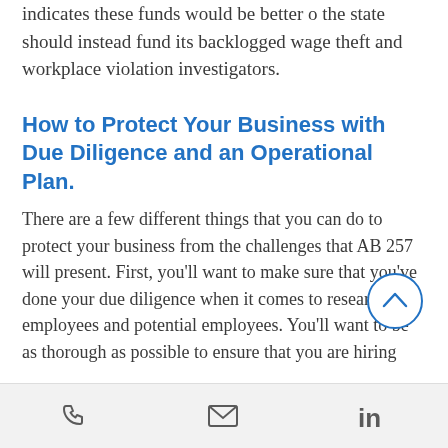indicates these funds would be better o the state should instead fund its backlogged wage theft and workplace violation investigators.
How to Protect Your Business with Due Diligence and an Operational Plan.
There are a few different things that you can do to protect your business from the challenges that AB 257 will present. First, you'll want to make sure that you've done your due diligence when it comes to researching employees and potential employees. You'll want to be as thorough as possible to ensure that you are hiring
phone | email | linkedin